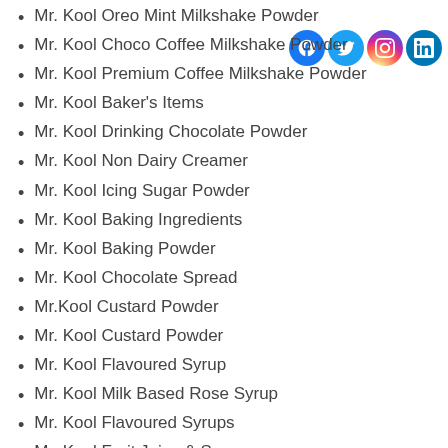Mr. Kool Oreo Mint Milkshake Powder
Mr. Kool Choco Coffee Milkshake Powder
Mr. Kool Premium Coffee Milkshake Powder
Mr. Kool Baker's Items
Mr. Kool Drinking Chocolate Powder
Mr. Kool Non Dairy Creamer
Mr. Kool Icing Sugar Powder
Mr. Kool Baking Ingredients
Mr. Kool Baking Powder
Mr. Kool Chocolate Spread
Mr.Kool Custard Powder
Mr. Kool Custard Powder
Mr. Kool Flavoured Syrup
Mr. Kool Milk Based Rose Syrup
Mr. Kool Flavoured Syrups
Mr. Kool Fruit Juice & Syrup
Mr. Kool Food Flavour Essence
Mr. Kool Corn Syrup
Mr. Kool Chocolate Syrup
Mr. Kool Pineapple Syrup
Mr. Kool Mango Syrup
Mr. Kool Food & Beverage
Mr. Kool Icing Sugar